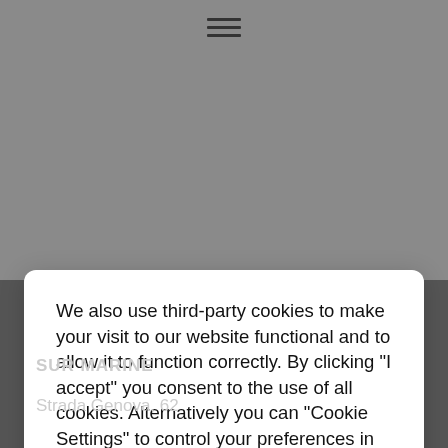[Figure (screenshot): Website screenshot showing a cookie consent modal overlay on a marine company website with grey background, hamburger menu icon at top, a white modal dialog with cookie consent text, and dark footer area with SUR MARINE branding]
We also use third-party cookies to make your visit to our website functional and to allow it to function correctly. By clicking "I accept" you consent to the use of all cookies. Alternatively you can "Cookie Settings" to control your preferences in this regard.
Read more
Cookie settings
Accept all
SUR MARINE
Strada Genova, 62